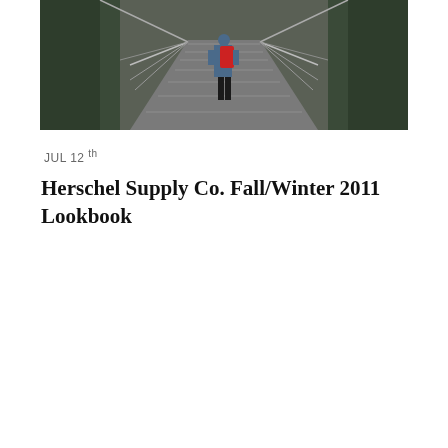[Figure (photo): Person standing on a suspension bridge walkway, viewed from behind, wearing a red backpack and dark clothing. The bridge extends forward with rope railings and metal grating. Green foliage visible on the sides.]
JUL 12th
Herschel Supply Co. Fall/Winter 2011 Lookbook